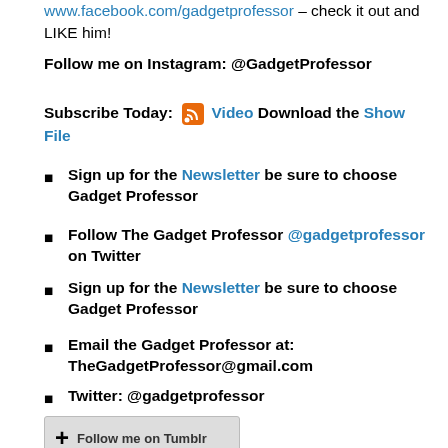Visit The Gadget Professor on Facebook www.facebook.com/gadgetprofessor – check it out and LIKE him!
Follow me on Instagram: @GadgetProfessor
Subscribe Today: [RSS icon] Video Download the Show File
Sign up for the Newsletter be sure to choose Gadget Professor
Follow The Gadget Professor @gadgetprofessor on Twitter
Sign up for the Newsletter be sure to choose Gadget Professor
Email the Gadget Professor at: TheGadgetProfessor@gmail.com
Twitter: @gadgetprofessor
[Figure (other): Follow me on Tumblr button with plus icon]